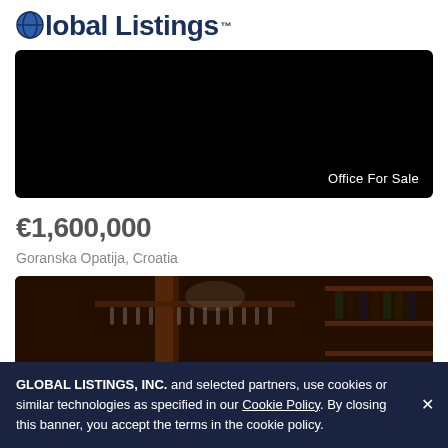[Figure (logo): Global Listings logo with globe icon and trademark symbol]
[Figure (photo): Dark/black property photo with 'Office For Sale' text overlay in bottom right]
€1,600,000
Goranska Opatija, Croatia
[Figure (photo): Interior photo of a bar with wooden shelving and hanging wine glasses]
GLOBAL LISTINGS, INC. and selected partners, use cookies or similar technologies as specified in our Cookie Policy. By closing this banner, you accept the terms in the cookie policy.